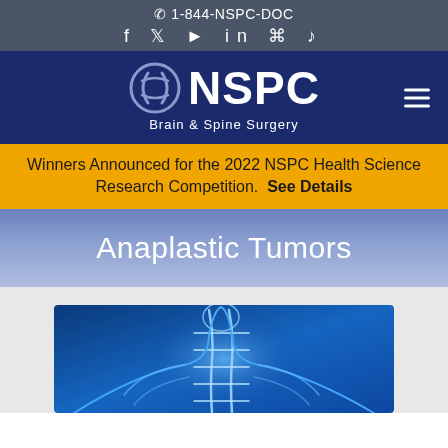📞 1-844-NSPC-DOC
f  🐦  ▶  in  📷  ♪
[Figure (logo): NSPC Brain & Spine Surgery logo with stylized head icon on dark navy background]
Winners Announced for the 2022 NSPC Health Science Research Competition. See Details
Anaplastic Tumors
[Figure (illustration): Medical illustration of human spine and neck anatomy with blue glowing x-ray style rendering]